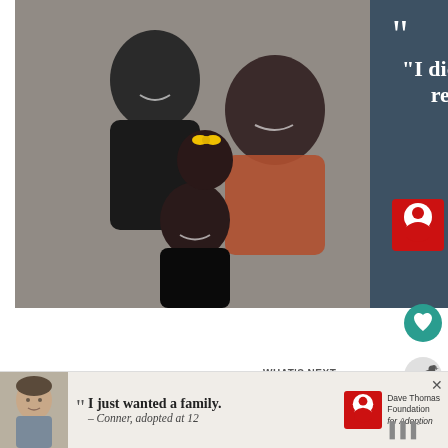[Figure (photo): Advertisement banner featuring a family photo on the left (a smiling Black family: father, mother, and two daughters) and a dark blue-green panel on the right with a quote: '"I didn't understand what love really was until I met my children." – Mom, adopted siblings' and the Dave Thomas Foundation for Adoption logo.]
[Figure (other): Teal circular heart/favorite button on the right side]
[Figure (other): Light grey circular share button on the right side]
Ingredients:
[Figure (photo): What's Next panel with a small thumbnail photo of a mint chocolate chip dessert, labeled 'Chocolate Chip Mint...']
2 1/4 cups all-purpose flour
[Figure (photo): Bottom advertisement banner for Dave Thomas Foundation for Adoption, featuring a boy and quote: '"I just wanted a family. – Conner, adopted at 12' with the Foundation logo.]